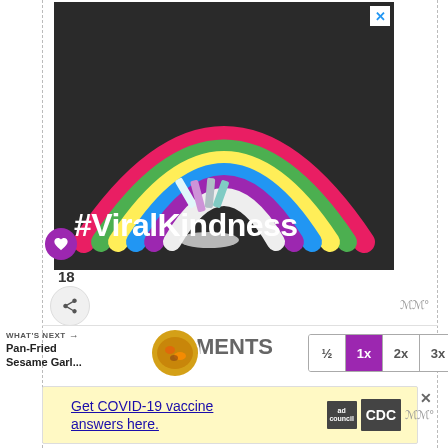[Figure (photo): Chalk rainbow drawn on dark asphalt pavement with chalk sticks visible, overlaid with white text '#ViralKindness']
18
WHAT'S NEXT → Pan-Fried Sesame Garl...
MENTS
½  1x  2x  3x
[Figure (photo): Food thumbnail showing pan-fried sesame garlic dish]
Get COVID-19 vaccine answers here.
[Figure (logo): Ad Council and CDC logos]